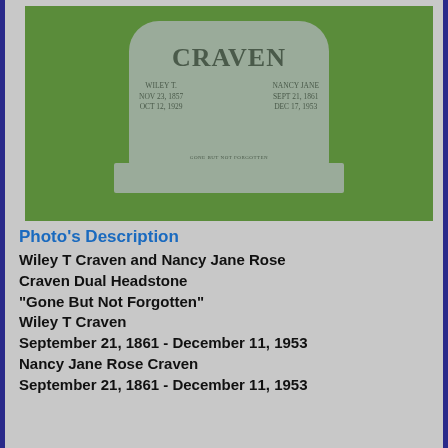[Figure (photo): Photograph of a dual headstone for Wiley T Craven and Nancy Jane Rose Craven, gray stone with arched top reading CRAVEN, set on green grass. Left panel: WILEY T. NOV 23, 1857 OCT 12, 1929. Right panel: NANCY JANE SEPT 21, 1861 DEC 17, 1953. Inscription on base: Gone But Not Forgotten.]
Photo's Description
Wiley T Craven and Nancy Jane Rose Craven Dual Headstone
"Gone But Not Forgotten"
Wiley T Craven
September 21, 1861 - December 11, 1953
Nancy Jane Rose Craven
September 21, 1861 - December 11, 1953